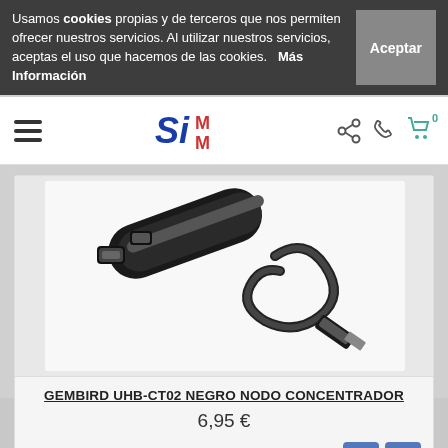Usamos cookies propias y de terceros que nos permiten ofrecer nuestros servicios. Al utilizar nuestros servicios, aceptas el uso que hacemos de las cookies.    Más Información
SimM - Navigation bar with hamburger menu, logo, share, phone, and cart icons
[Figure (photo): USB hub product photo showing a black Gembird UHB-CT02 USB hub concentrator with a USB cable on white background]
GEMBIRD UHB-CT02 NEGRO NODO CONCENTRADOR
6,95 €